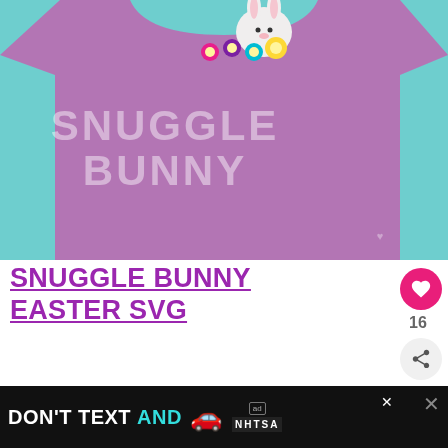[Figure (photo): Purple 'Snuggle Bunny' Easter shirt with glitter text and colorful flower/bunny graphic on a teal background]
SNUGGLE BUNNY EASTER SVG
You can make this adorable Snuggle Bunny Shirt from Happiness is Homemade us… SVG file. Those little toddlers are only snuggly for s…
[Figure (infographic): Ad banner: DON'T TEXT AND [car emoji] with NHTSA logo]